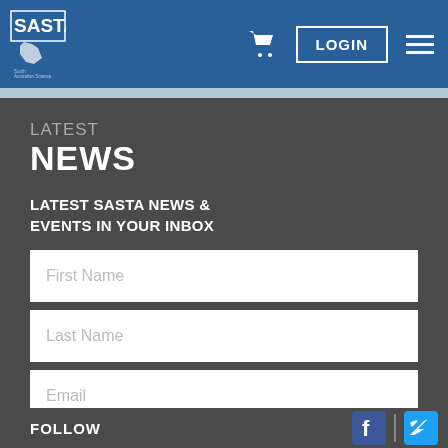SASTA — South Australian Science Teachers Association — LOGIN
LATEST NEWS
LATEST SASTA NEWS & EVENTS IN YOUR INBOX
First Name
Last Name
Email
subscribe
FOLLOW